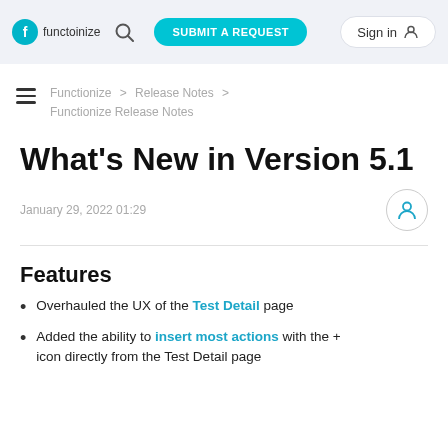functoinize [logo] [search] SUBMIT A REQUEST  Sign in [user icon]
Functionize > Release Notes > Functionize Release Notes
What's New in Version 5.1
January 29, 2022 01:29
Features
Overhauled the UX of the Test Detail page
Added the ability to insert most actions with the + icon directly from the Test Detail page